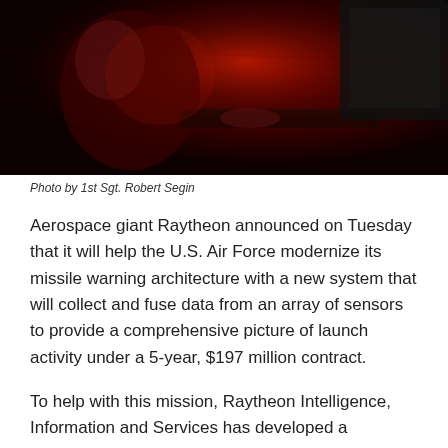[Figure (photo): Dark red-toned photo of a person in military gear working at a computer keyboard in a dimly lit environment with red lighting.]
Photo by 1st Sgt. Robert Segin
Aerospace giant Raytheon announced on Tuesday that it will help the U.S. Air Force modernize its missile warning architecture with a new system that will collect and fuse data from an array of sensors to provide a comprehensive picture of launch activity under a 5-year, $197 million contract.
To help with this mission, Raytheon Intelligence, Information and Services has developed a completely open framework — which the Air Force calls the Future Operationally Resilient Ground